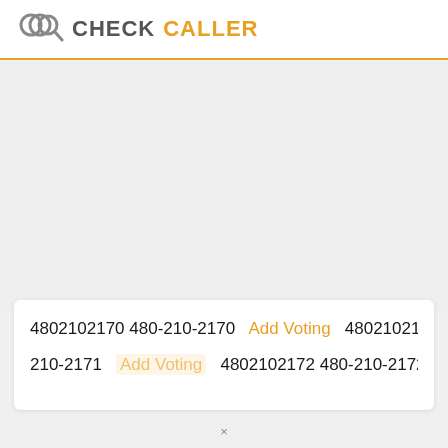CHECK CALLER
4802102170 480-210-2170   Add Voting   4802102171 480-210-2171   Add Voting   4802102172 480-210-2172